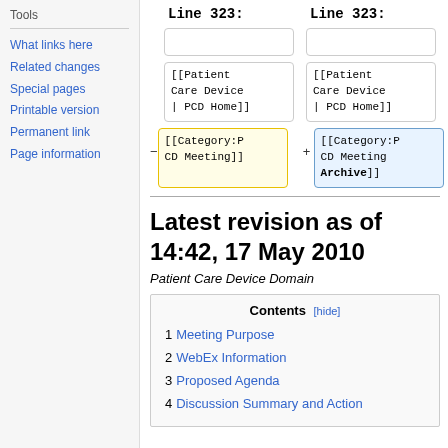Tools
What links here
Related changes
Special pages
Printable version
Permanent link
Page information
Line 323: (left column)
Line 323: (right column)
[[Patient Care Device | PCD Home]] (left)
[[Patient Care Device | PCD Home]] (right)
- [[Category:PCD Meeting]] (left, yellow)
+ [[Category:PCD Meeting Archive]] (right, blue)
Latest revision as of 14:42, 17 May 2010
Patient Care Device Domain
| Contents [hide] |
| --- |
| 1 Meeting Purpose |
| 2 WebEx Information |
| 3 Proposed Agenda |
| 4 Discussion Summary and Action |